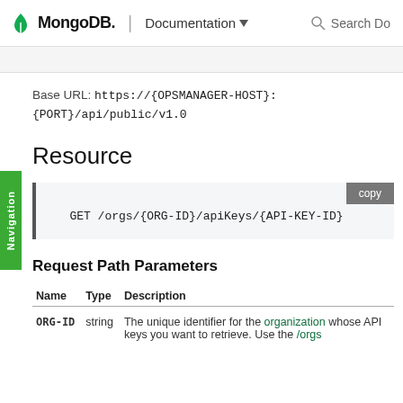MongoDB. | Documentation  Search Do
Base URL: https://{OPSMANAGER-HOST}:{PORT}/api/public/v1.0
Resource
GET /orgs/{ORG-ID}/apiKeys/{API-KEY-ID}
Request Path Parameters
| Name | Type | Description |
| --- | --- | --- |
| ORG-ID | string | The unique identifier for the organization whose API keys you want to retrieve. Use the /orgs |